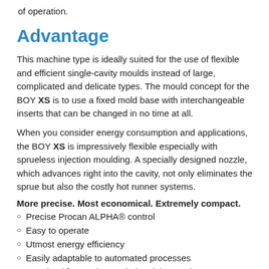of operation.
Advantage
This machine type is ideally suited for the use of flexible and efficient single-cavity moulds instead of large, complicated and delicate types. The mould concept for the BOY XS is to use a fixed mold base with interchangeable inserts that can be changed in no time at all.
When you consider energy consumption and applications, the BOY XS is impressively flexible especially with sprueless injection moulding. A specially designed nozzle, which advances right into the cavity, not only eliminates the sprue but also the costly hot runner systems.
More precise. Most economical. Extremely compact.
Precise Procan ALPHA® control
Easy to operate
Utmost energy efficiency
Easily adaptable to automated processes
Desgined for continuous industrial operation